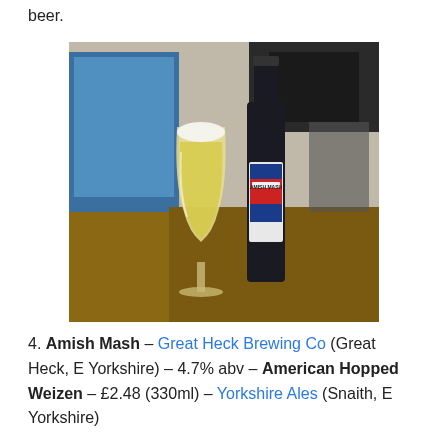beer.
[Figure (photo): A photo showing a glass of pale golden beer (wheat beer style, cloudy/hazy) next to a dark beer bottle with a label reading 'Amish Mash', placed on a wooden surface. A laptop screen is visible in the background.]
4. Amish Mash – Great Heck Brewing Co (Great Heck, E Yorkshire) – 4.7% abv – American Hopped Weizen – £2.48 (330ml) – Yorkshire Ales (Snaith, E Yorkshire)